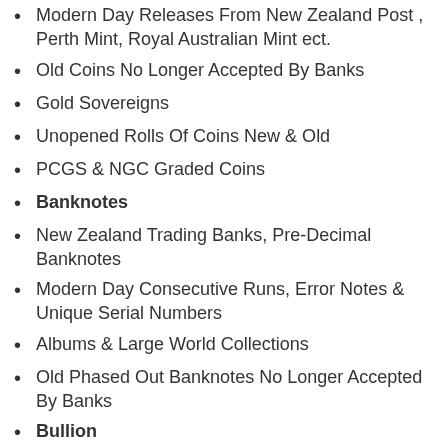Modern Day Releases From New Zealand Post , Perth Mint, Royal Australian Mint ect.
Old Coins No Longer Accepted By Banks
Gold Sovereigns
Unopened Rolls Of Coins New & Old
PCGS & NGC Graded Coins
Banknotes
New Zealand Trading Banks, Pre-Decimal Banknotes
Modern Day Consecutive Runs, Error Notes & Unique Serial Numbers
Albums & Large World Collections
Old Phased Out Banknotes No Longer Accepted By Banks
Bullion
Gold Maples, Krugerrands, Eagles
Old Silver Coins
Shipwreck Coins & Treasure
Silver Bars
Junk Silver
Other Collectables
Medals